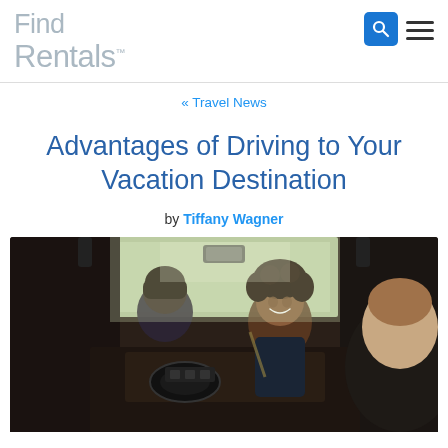Find Rentals
« Travel News
Advantages of Driving to Your Vacation Destination
by Tiffany Wagner
[Figure (photo): Interior view of a car with passengers; a smiling woman with curly hair is turned around in the passenger seat, others visible in back seats, road visible through windshield]